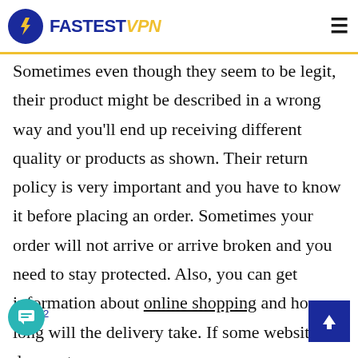FastestVPN
Sometimes even though they seem to be legit, their product might be described in a wrong way and you'll end up receiving different quality or products as shown. Their return policy is very important and you have to know it before placing an order. Sometimes your order will not arrive or arrive broken and you need to stay protected. Also, you can get information about online shopping and how long will the delivery take. If some website does not [have] privacy, return, and delivery policy, they [are] probably a scam.